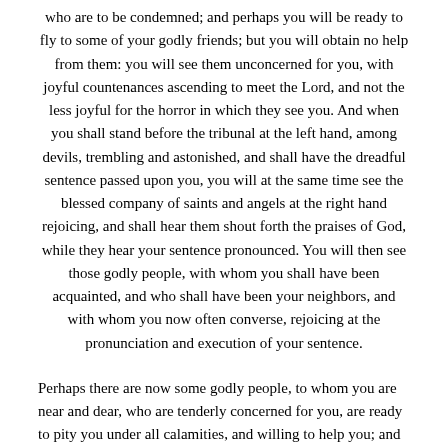who are to be condemned; and perhaps you will be ready to fly to some of your godly friends; but you will obtain no help from them: you will see them unconcerned for you, with joyful countenances ascending to meet the Lord, and not the less joyful for the horror in which they see you. And when you shall stand before the tribunal at the left hand, among devils, trembling and astonished, and shall have the dreadful sentence passed upon you, you will at the same time see the blessed company of saints and angels at the right hand rejoicing, and shall hear them shout forth the praises of God, while they hear your sentence pronounced. You will then see those godly people, with whom you shall have been acquainted, and who shall have been your neighbors, and with whom you now often converse, rejoicing at the pronunciation and execution of your sentence.
Perhaps there are now some godly people, to whom you are near and dear, who are tenderly concerned for you, are ready to pity you under all calamities, and willing to help you; and particularly are tenderly concerned for your poor soul, and have put up many fervent prayers for you. How will you bear to hear these singing for joy of heart, while you are crying for sorrow of heart and howling for vexation of spirit, and even singing the more joyful for the glorious justice of God which